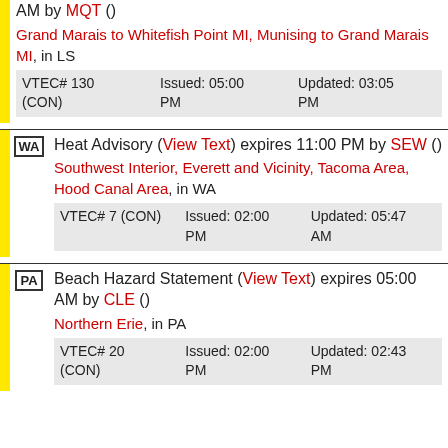AM by MQT () Grand Marais to Whitefish Point MI, Munising to Grand Marais MI, in LS
| VTEC# | Issued | Updated |
| --- | --- | --- |
| VTEC# 130 (CON) | Issued: 05:00 PM | Updated: 03:05 PM |
WA — Heat Advisory (View Text) expires 11:00 PM by SEW () Southwest Interior, Everett and Vicinity, Tacoma Area, Hood Canal Area, in WA
| VTEC# | Issued | Updated |
| --- | --- | --- |
| VTEC# 7 (CON) | Issued: 02:00 PM | Updated: 05:47 AM |
PA — Beach Hazard Statement (View Text) expires 05:00 AM by CLE () Northern Erie, in PA
| VTEC# | Issued | Updated |
| --- | --- | --- |
| VTEC# 20 (CON) | Issued: 02:00 PM | Updated: 02:43 PM |